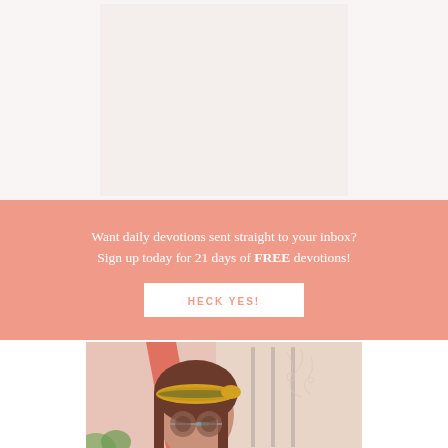[Figure (photo): Light pinkish-white blank upper area background]
Want daily devotions sent straight to your inbox?
Sign up today for 21 days of FREE devotions!
HECK YES!
[Figure (photo): Woman with sunglasses and an orange/green headband scarf, standing in front of a salmon-pink architectural background]